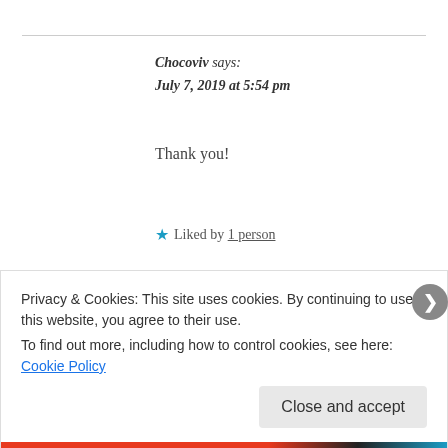Chocoviv says:
July 7, 2019 at 5:54 pm
Thank you!
★ Liked by 1 person
Reply
Privacy & Cookies: This site uses cookies. By continuing to use this website, you agree to their use.
To find out more, including how to control cookies, see here: Cookie Policy
Close and accept